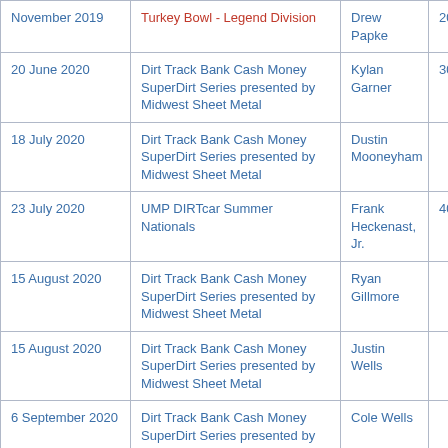| Date | Event | Winner | Laps |
| --- | --- | --- | --- |
| November 2019 | Turkey Bowl - Legend Division | Drew Papke | 20 |
| 20 June 2020 | Dirt Track Bank Cash Money SuperDirt Series presented by Midwest Sheet Metal | Kylan Garner | 30 |
| 18 July 2020 | Dirt Track Bank Cash Money SuperDirt Series presented by Midwest Sheet Metal | Dustin Mooneyham |  |
| 23 July 2020 | UMP DIRTcar Summer Nationals | Frank Heckenast, Jr. | 40 |
| 15 August 2020 | Dirt Track Bank Cash Money SuperDirt Series presented by Midwest Sheet Metal | Ryan Gillmore |  |
| 15 August 2020 | Dirt Track Bank Cash Money SuperDirt Series presented by Midwest Sheet Metal | Justin Wells |  |
| 6 September 2020 | Dirt Track Bank Cash Money SuperDirt Series presented by Midwest Sheet Metal | Cole Wells |  |
| 20 September 2020 | Dirt Track Bank Cash Money SuperDirt Series presented by Midwest Sheet Metal | Kylan Garner |  |
|  | Dirt Track Bank Cash Money... |  |  |